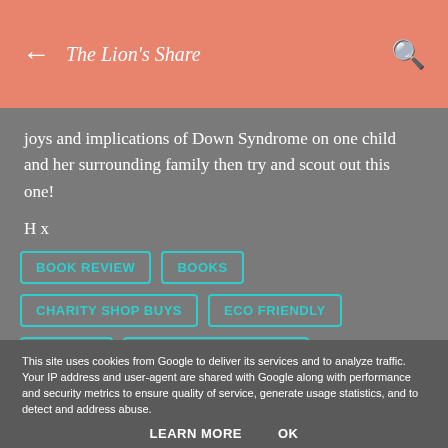← The Lion's Share 🔍
joys and implications of Down Syndrome on one child and her surrounding family then try and scout out this one!
H x
BOOK REVIEW
BOOKS
CHARITY SHOP BUYS
ECO FRIENDLY
HISTORY
SUSTAINABLE BUYING
This site uses cookies from Google to deliver its services and to analyze traffic. Your IP address and user-agent are shared with Google along with performance and security metrics to ensure quality of service, generate usage statistics, and to detect and address abuse.
LEARN MORE   OK